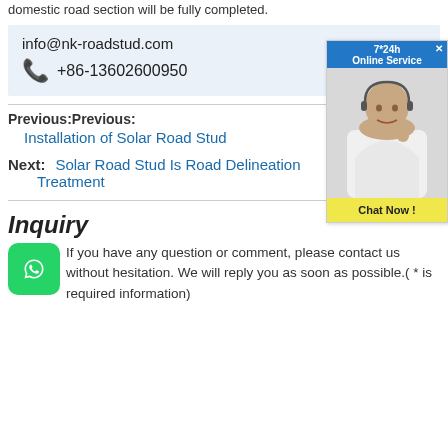domestic road section will be fully completed.
info@nk-roadstud.com
+86-13602600950
Previous:Previous:
Installation of Solar Road Stud
Next: Solar Road Stud Is Road Delineation Treatment  Next:
Inquiry
If you have any question or comment, please contact us without hesitation. We will reply you as soon as possible.( * is required information)
[Figure (photo): Customer service chat widget showing '7*24h Online Service' header, photo of a woman with headset smiling, and a yellow 'Chat Now!' button]